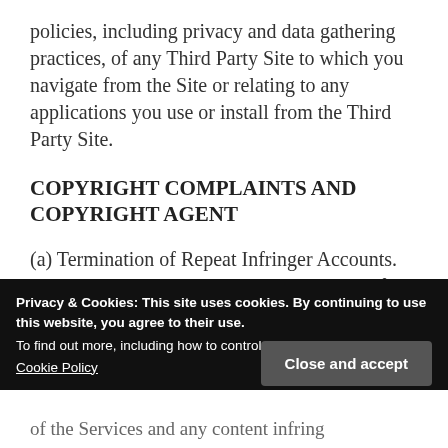policies, including privacy and data gathering practices, of any Third Party Site to which you navigate from the Site or relating to any applications you use or install from the Third Party Site.
COPYRIGHT COMPLAINTS AND COPYRIGHT AGENT
(a) Termination of Repeat Infringer Accounts. We respect the intellectual property rights of
Privacy & Cookies: This site uses cookies. By continuing to use this website, you agree to their use.
To find out more, including how to control cookies, see here:
Cookie Policy
Close and accept
of the Services and any content infring